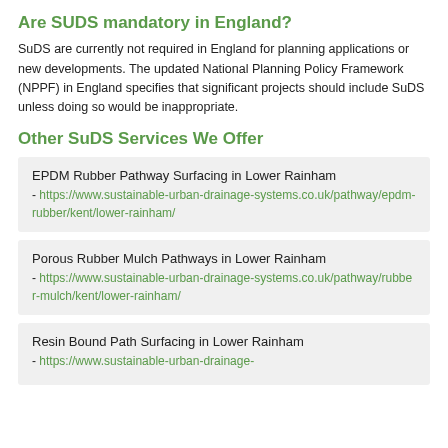Are SUDS mandatory in England?
SuDS are currently not required in England for planning applications or new developments. The updated National Planning Policy Framework (NPPF) in England specifies that significant projects should include SuDS unless doing so would be inappropriate.
Other SuDS Services We Offer
EPDM Rubber Pathway Surfacing in Lower Rainham - https://www.sustainable-urban-drainage-systems.co.uk/pathway/epdm-rubber/kent/lower-rainham/
Porous Rubber Mulch Pathways in Lower Rainham - https://www.sustainable-urban-drainage-systems.co.uk/pathway/rubber-mulch/kent/lower-rainham/
Resin Bound Path Surfacing in Lower Rainham - https://www.sustainable-urban-drainage-